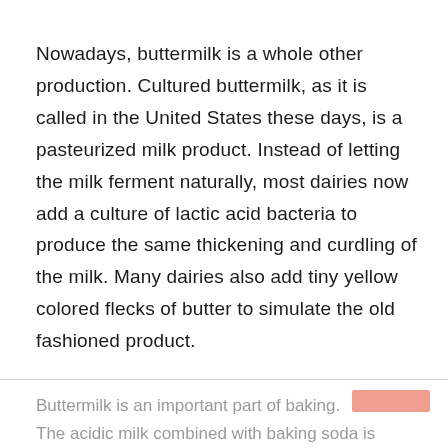Nowadays, buttermilk is a whole other production. Cultured buttermilk, as it is called in the United States these days, is a pasteurized milk product. Instead of letting the milk ferment naturally, most dairies now add a culture of lactic acid bacteria to produce the same thickening and curdling of the milk. Many dairies also add tiny yellow colored flecks of butter to simulate the old fashioned product.
Buttermilk is an important part of baking. The acidic milk combined with baking soda is...